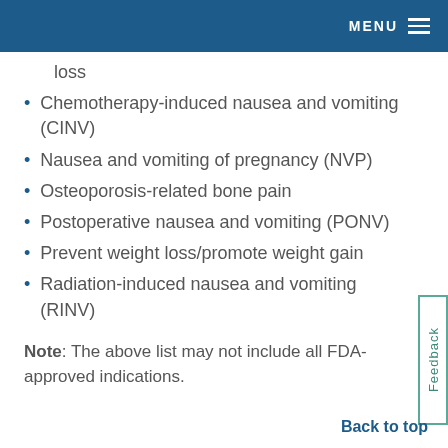MENU
loss
Chemotherapy-induced nausea and vomiting (CINV)
Nausea and vomiting of pregnancy (NVP)
Osteoporosis-related bone pain
Postoperative nausea and vomiting (PONV)
Prevent weight loss/promote weight gain
Radiation-induced nausea and vomiting (RINV)
Note: The above list may not include all FDA-approved indications.
Back to top